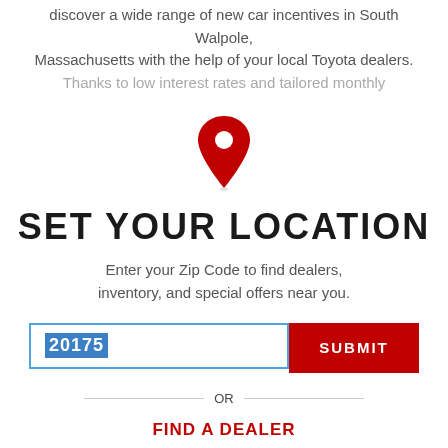discover a wide range of new car incentives in South Walpole, Massachusetts with the help of your local Toyota dealers. Thanks to low interest rates and tailored monthly
[Figure (illustration): Red map pin / location marker icon]
SET YOUR LOCATION
Enter your Zip Code to find dealers, inventory, and special offers near you.
20175 [zip code input field] SUBMIT [button]
OR
FIND A DEALER